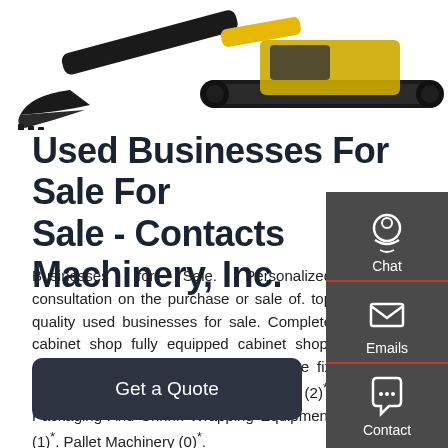[Figure (photo): Photo of a yellow tracked excavator/construction machine with a bucket attachment, viewed from the side against a white background.]
Used Businesses For Sale For Sale - Contacts Machinery, Inc.
Businesses for Sale. Personalized consultation on the purchase or sale of. top quality used businesses for sale. Complete cabinet shop fully equipped cabinet shop, Complete shop, cabinet, millwork, store fix buy machines,lease the shop, Moulders (2)*. Packaging And Shrink Wrapping Equipment (1)*. Pallet Machinery (0)*.
[Figure (infographic): Side panel with dark grey background containing three icons: Chat (headset icon), Emails (envelope icon), Contact (speech bubble icon), separated by red dividers.]
Get a Quote